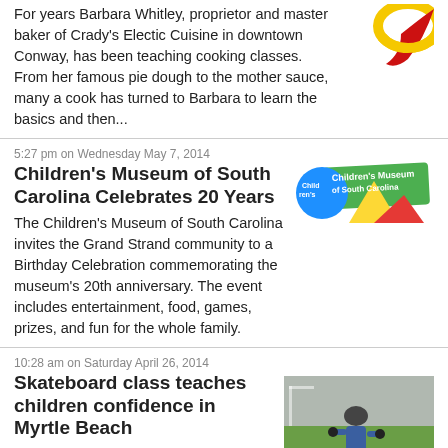For years Barbara Whitley, proprietor and master baker of Crady's Electic Cuisine in downtown Conway, has been teaching cooking classes.  From her famous pie dough to the mother sauce, many a cook has turned to Barbara to learn the basics and then...
[Figure (logo): Colorful circular logo with yellow and red design elements]
5:27 pm on Wednesday May 7, 2014
Children's Museum of South Carolina Celebrates 20 Years
[Figure (logo): Children's Museum of South Carolina logo with colorful text and shapes]
The Children's Museum of South Carolina invites the Grand Strand community to a Birthday Celebration commemorating the museum's 20th anniversary. The event includes entertainment, food, games, prizes, and fun for the whole family.
10:28 am on Saturday April 26, 2014
Skateboard class teaches children confidence in Myrtle Beach
[Figure (photo): Photo of a child in protective gear skateboarding on a green field]
Pepper Geddings Recreation Center is offering skateboarding classes to help kids build more confidence both on and off their boards. The seven week course teaches kids